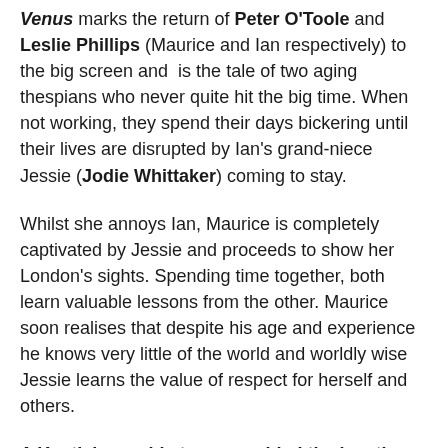Venus marks the return of Peter O'Toole and Leslie Phillips (Maurice and Ian respectively) to the big screen and is the tale of two aging thespians who never quite hit the big time. When not working, they spend their days bickering until their lives are disrupted by Ian's grand-niece Jessie (Jodie Whittaker) coming to stay.
Whilst she annoys Ian, Maurice is completely captivated by Jessie and proceeds to show her London's sights. Spending time together, both learn valuable lessons from the other. Maurice soon realises that despite his age and experience he knows very little of the world and worldly wise Jessie learns the value of respect for herself and others.
A Kentish seaside town provided the location for Maurice's last trip. After an accident, Maurice